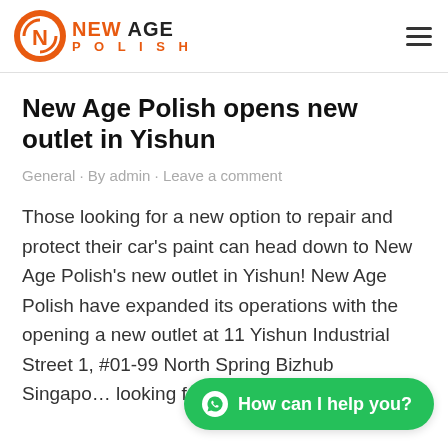New Age Polish
New Age Polish opens new outlet in Yishun
General · By admin · Leave a comment
Those looking for a new option to repair and protect their car's paint can head down to New Age Polish's new outlet in Yishun! New Age Polish have expanded its operations with the opening a new outlet at 11 Yishun Industrial Street 1, #01-99 North Spring Bizhub Singapo… looking for the best...
[Figure (other): WhatsApp chat button with text 'How can I help you?']